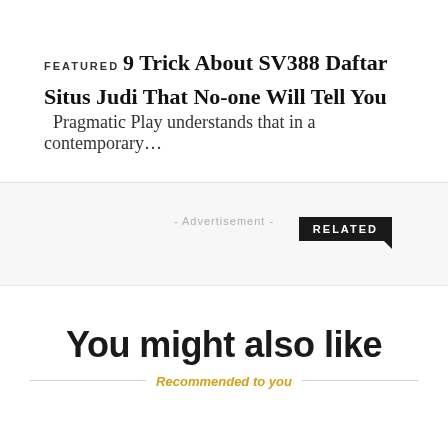FEATURED
9 Trick About SV388 Daftar Situs Judi That No-one Will Tell You
Pragmatic Play understands that in a contemporary…
- Advertisement -
RELATED
You might also like
Recommended to you